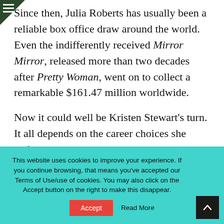☰ (hamburger menu icon)
nce then, Julia Roberts has usually been a reliable box office draw around the world. Even the indifferently received Mirror Mirror, released more than two decades after Pretty Woman, went on to collect a remarkable $161.47 million worldwide.
Now it could well be Kristen Stewart's turn. It all depends on the career choices she makes.
This website uses cookies to improve your experience. If you continue browsing, that means you've accepted our Terms of Use/use of cookies. You may also click on the Accept button on the right to make this disappear.